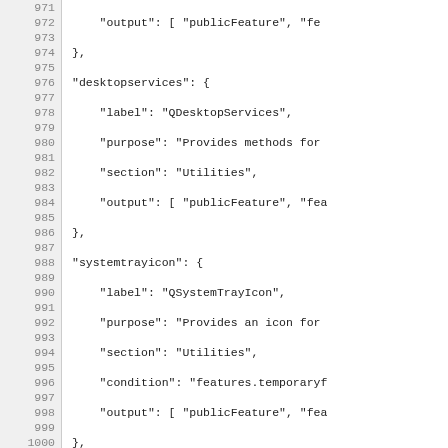Code listing lines 971-1001 showing JSON configuration with desktopservices, systemtrayicon, accessibility, and multiprocess entries